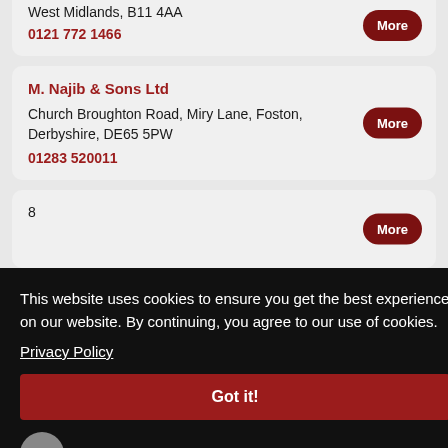West Midlands, B11 4AA
0121 772 1466
M. Najib & Sons Ltd
Church Broughton Road, Miry Lane, Foston, Derbyshire, DE65 5PW
01283 520011
8
This website uses cookies to ensure you get the best experience on our website. By continuing, you agree to our use of cookies.
Privacy Policy
Got it!
The Abattoir, 2 Higher Bury Street, Stockport, Greater Manchester, SK1 1BI